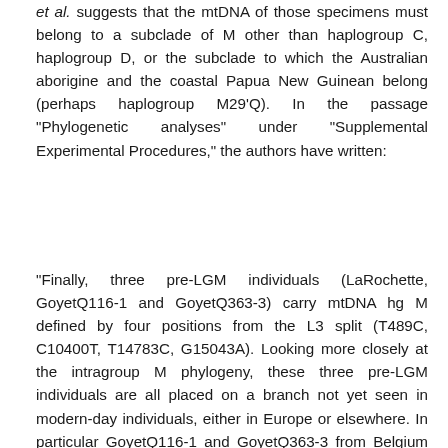et al. suggests that the mtDNA of those specimens must belong to a subclade of M other than haplogroup C, haplogroup D, or the subclade to which the Australian aborigine and the coastal Papua New Guinean belong (perhaps haplogroup M29'Q). In the passage "Phylogenetic analyses" under "Supplemental Experimental Procedures," the authors have written:
"Finally, three pre-LGM individuals (LaRochette, GoyetQ116-1 and GoyetQ363-3) carry mtDNA hg M defined by four positions from the L3 split (T489C, C10400T, T14783C, G15043A). Looking more closely at the intragroup M phylogeny, these three pre-LGM individuals are all placed on a branch not yet seen in modern-day individuals, either in Europe or elsewhere. In particular GoyetQ116-1 and GoyetQ363-3 from Belgium dated ~34-35 ka, show 6 (G207A, C1556T, C6045T, C8619a, A11084G, T16297) and 8 (G207A, C1556T, A6040G, C6041T, C6045T, C8619a, A11084G, T16297) derived mutations from the M root, respectively, whereas LaRochette from South France dated ~27.5 ka presents 7 (G207A, C1556T, C6045T, C6164T, C8619a, A11084G, C16318T) derived mutations from the M root. LaRochette...